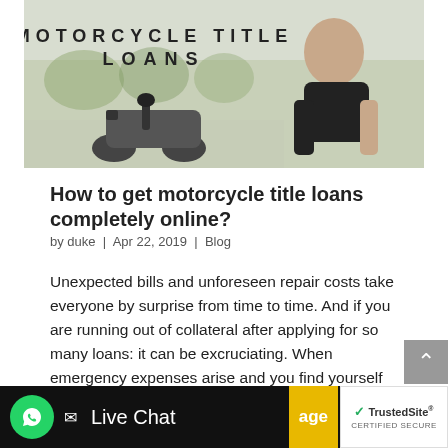[Figure (photo): Banner image showing a man on a motorcycle with text 'MOTORCYCLE TITLE LOANS' overlaid. Outdoor scene with trees and sky in background.]
How to get motorcycle title loans completely online?
by duke | Apr 22, 2019 | Blog
Unexpected bills and unforeseen repair costs take everyone by surprise from time to time. And if you are running out of collateral after applying for so many loans: it can be excruciating. When emergency expenses arise and you find yourself short on cash, you may try...